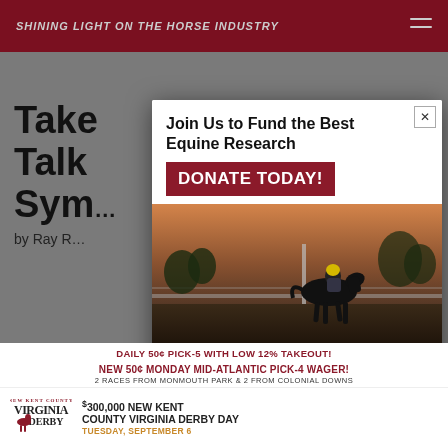SHINING LIGHT ON THE HORSE INDUSTRY
Take...IISA Talk...Symp...
by Ray R...
[Figure (infographic): Modal popup ad for Grayson-Jockey Club Research Foundation. Header: 'Join Us to Fund the Best Equine Research'. Button: 'DONATE TODAY!'. Background image shows horse and rider on a racetrack at dawn. Footer shows logo and 'Grayson-Jockey Club Research Foundation'.]
DAILY 50¢ PICK-5 WITH LOW 12% TAKEOUT!
NEW 50¢ MONDAY MID-ATLANTIC PICK-4 WAGER!
2 RACES FROM MONMOUTH PARK & 2 FROM COLONIAL DOWNS
[Figure (logo): Virginia Derby logo with horse]
$300,000 NEW KENT COUNTY VIRGINIA DERBY DAY TUESDAY, SEPTEMBER 6